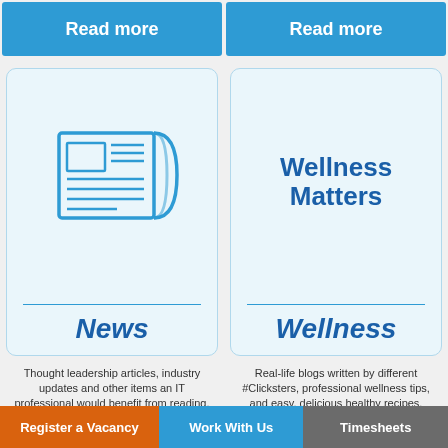Read more
Read more
[Figure (illustration): Newspaper/document icon with lines representing text, drawn in blue outline style]
News
[Figure (logo): Wellness Matters logo text in blue handwritten/rounded font]
Wellness
Thought leadership articles, industry updates and other items an IT professional would benefit from reading.
Real-life blogs written by different #Clicksters, professional wellness tips, and easy, delicious healthy recipes.
Register a Vacancy
Work With Us
Timesheets